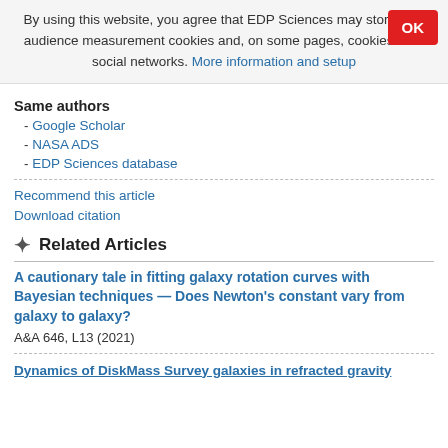By using this website, you agree that EDP Sciences may store web audience measurement cookies and, on some pages, cookies from social networks. More information and setup
Same authors
- Google Scholar
- NASA ADS
- EDP Sciences database
Recommend this article
Download citation
Related Articles
A cautionary tale in fitting galaxy rotation curves with Bayesian techniques — Does Newton's constant vary from galaxy to galaxy?
A&A 646, L13 (2021)
Dynamics of DiskMass Survey galaxies in refracted gravity